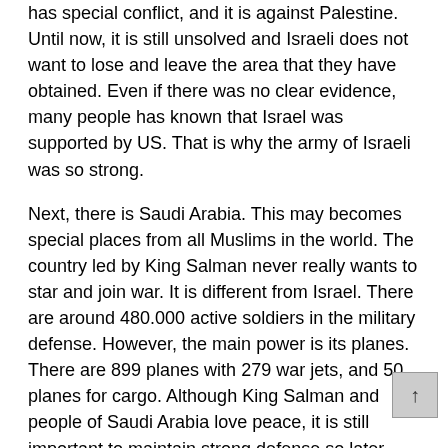has special conflict, and it is against Palestine. Until now, it is still unsolved and Israeli does not want to lose and leave the area that they have obtained. Even if there was no clear evidence, many people has known that Israel was supported by US. That is why the army of Israeli was so strong.
Next, there is Saudi Arabia. This may becomes special places from all Muslims in the world. The country led by King Salman never really wants to star and join war. It is different from Israel. There are around 480.000 active soldiers in the military defense. However, the main power is its planes. There are 899 planes with 279 war jets, and 50 planes for cargo. Although King Salman and people of Saudi Arabia love peace, it is still important to maintain strong defense so later there will not be any threats that occur during the ritual for Muslims.
Third is Iran. Recently, Iran tried hard to develop defense system. Their efforts in developing the defense industry many countries angry. In term of military power, Iran has